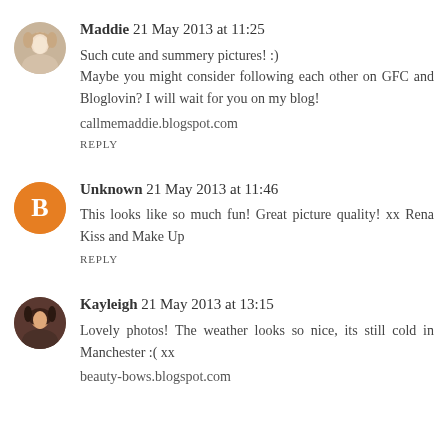[Figure (photo): Avatar photo of Maddie - woman with light hair]
Maddie 21 May 2013 at 11:25
Such cute and summery pictures! :)
Maybe you might consider following each other on GFC and Bloglovin? I will wait for you on my blog!
callmemaddie.blogspot.com
REPLY
[Figure (logo): Blogger 'B' logo icon on orange circle background for Unknown commenter]
Unknown 21 May 2013 at 11:46
This looks like so much fun! Great picture quality! xx Rena Kiss and Make Up
REPLY
[Figure (photo): Avatar photo of Kayleigh - woman with dark hair]
Kayleigh 21 May 2013 at 13:15
Lovely photos! The weather looks so nice, its still cold in Manchester :( xx
beauty-bows.blogspot.com